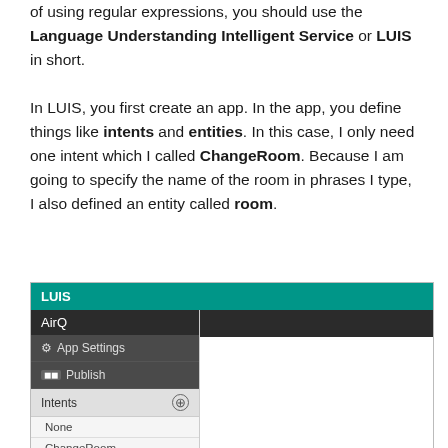of using regular expressions, you should use the Language Understanding Intelligent Service or LUIS in short.
In LUIS, you first create an app. In the app, you define things like intents and entities. In this case, I only need one intent which I called ChangeRoom. Because I am going to specify the name of the room in phrases I type, I also defined an entity called room.
[Figure (screenshot): Screenshot of the LUIS (Language Understanding Intelligent Service) web interface showing a sidebar with AirQ app, App Settings, Publish, and Intents (with None and ChangeRoom listed) on the left, and a white content panel on the right.]